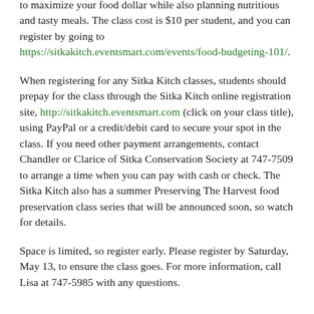to maximize your food dollar while also planning nutritious and tasty meals. The class cost is $10 per student, and you can register by going to https://sitkakitch.eventsmart.com/events/food-budgeting-101/.
When registering for any Sitka Kitch classes, students should prepay for the class through the Sitka Kitch online registration site, http://sitkakitch.eventsmart.com (click on your class title), using PayPal or a credit/debit card to secure your spot in the class. If you need other payment arrangements, contact Chandler or Clarice of Sitka Conservation Society at 747-7509 to arrange a time when you can pay with cash or check. The Sitka Kitch also has a summer Preserving The Harvest food preservation class series that will be announced soon, so watch for details.
Space is limited, so register early. Please register by Saturday, May 13, to ensure the class goes. For more information, call Lisa at 747-5985 with any questions.